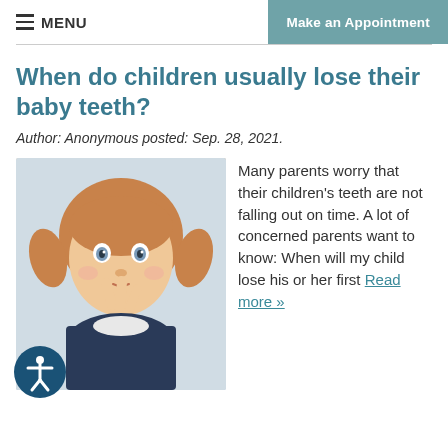≡ MENU | Make an Appointment
When do children usually lose their baby teeth?
Author: Anonymous posted: Sep. 28, 2021.
[Figure (photo): Young girl with blonde pigtails holding fingers near her mouth, looking at camera]
Many parents worry that their children's teeth are not falling out on time. A lot of concerned parents want to know: When will my child lose his or her first Read more »